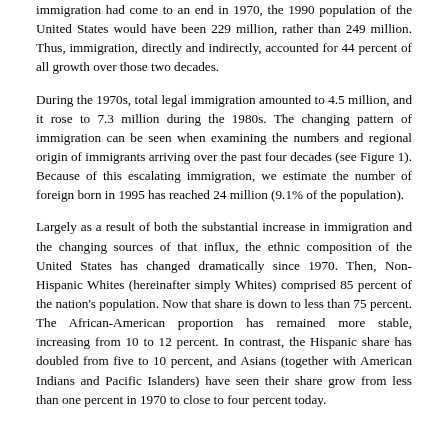immigration had come to an end in 1970, the 1990 population of the United States would have been 229 million, rather than 249 million. Thus, immigration, directly and indirectly, accounted for 44 percent of all growth over those two decades.
During the 1970s, total legal immigration amounted to 4.5 million, and it rose to 7.3 million during the 1980s. The changing pattern of immigration can be seen when examining the numbers and regional origin of immigrants arriving over the past four decades (see Figure 1). Because of this escalating immigration, we estimate the number of foreign born in 1995 has reached 24 million (9.1% of the population).
Largely as a result of both the substantial increase in immigration and the changing sources of that influx, the ethnic composition of the United States has changed dramatically since 1970. Then, Non-Hispanic Whites (hereinafter simply Whites) comprised 85 percent of the nation's population. Now that share is down to less than 75 percent. The African-American proportion has remained more stable, increasing from 10 to 12 percent. In contrast, the Hispanic share has doubled from five to 10 percent, and Asians (together with American Indians and Pacific Islanders) have seen their share grow from less than one percent in 1970 to close to four percent today.